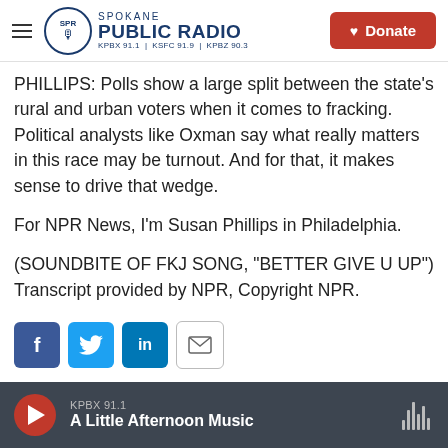Spokane Public Radio — KPBX 91.1 | KSFC 91.9 | KPBZ 90.3
PHILLIPS: Polls show a large split between the state's rural and urban voters when it comes to fracking. Political analysts like Oxman say what really matters in this race may be turnout. And for that, it makes sense to drive that wedge.
For NPR News, I'm Susan Phillips in Philadelphia.
(SOUNDBITE OF FKJ SONG, "BETTER GIVE U UP") Transcript provided by NPR, Copyright NPR.
[Figure (other): Social sharing buttons: Facebook, Twitter, LinkedIn, Email]
KPBX 91.1 — A Little Afternoon Music (player bar)